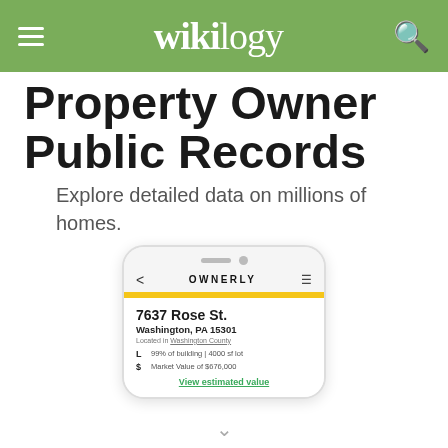wikilogy
Property Owner Public Records
Explore detailed data on millions of homes.
[Figure (screenshot): Mobile phone screenshot showing the Ownerly app with property details for 7637 Rose St., Washington, PA 15301. Located in Washington County. 99% of building, 4000 sf lot. Market Value of $676,000. View estimated value link.]